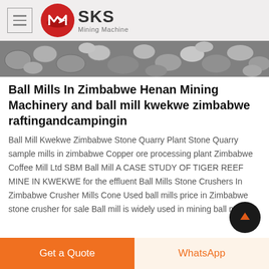SKS Mining Machine
[Figure (photo): Close-up of grey smooth river stones/pebbles background image]
Ball Mills In Zimbabwe Henan Mining Machinery and ball mill kwekwe zimbabwe raftingandcampingin
Ball Mill Kwekwe Zimbabwe Stone Quarry Plant Stone Quarry sample mills in zimbabwe Copper ore processing plant Zimbabwe Coffee Mill Ltd SBM Ball Mill A CASE STUDY OF TIGER REEF MINE IN KWEKWE for the effluent Ball Mills Stone Crushers In Zimbabwe Crusher Mills Cone Used ball mills price in Zimbabwe stone crusher for sale Ball mill is widely used in mining ball mill kw